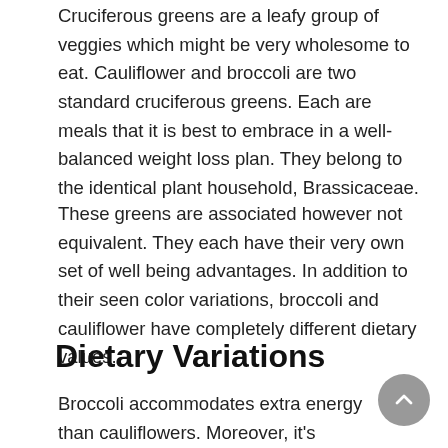Cruciferous greens are a leafy group of veggies which might be very wholesome to eat. Cauliflower and broccoli are two standard cruciferous greens. Each are meals that it is best to embrace in a well-balanced weight loss plan. They belong to the identical plant household, Brassicaceae.
These greens are associated however not equivalent. They each have their very own set of well being advantages. In addition to their seen color variations, broccoli and cauliflower have completely different dietary values.
Dietary Variations
Broccoli accommodates extra energy than cauliflowers. Moreover, it's wealthy in folate. Cauliflowers are appropriate for individuals attempting to shed extra